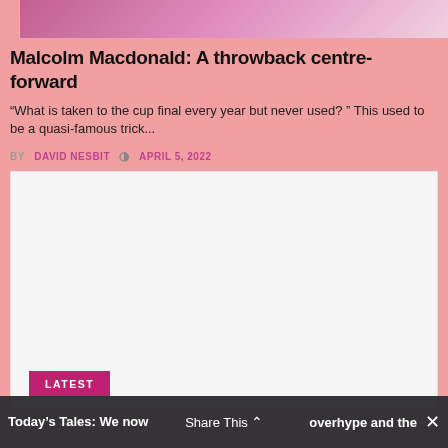[Figure (photo): Partial top image showing a person, cropped]
Malcolm Macdonald: A throwback centre-forward
“What is taken to the cup final every year but never used? ” This used to be a quasi-famous trick...
BY DAVID NESBIT  ○ APRIL 5, 2022
[Figure (other): Advertisement placeholder block (light gray)]
LATEST
Today’s Tales: We now Share This ⌃ overhype and the ...